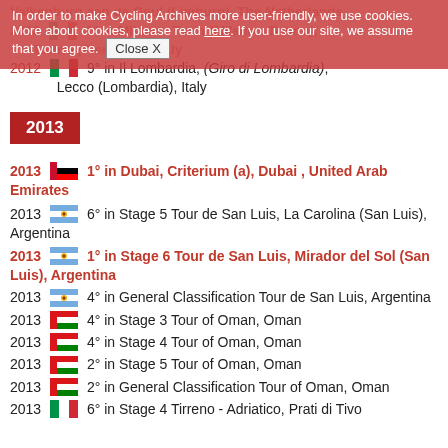Valkenburg aan de Geul (Limburg), The Netherlands
2012 [IT] 1° in Milaan - Turin (Milano - Torino), Torino (Piemonte), Italy
2012 [IT] 9° in Il Lombardia, (Giro di Lombardia), Lecco (Lombardia), Italy
2013
2013 [UAE] 1° in Dubai, Criterium (a), Dubai, United Arab Emirates
2013 [ARG] 6° in Stage 5 Tour de San Luis, La Carolina (San Luis), Argentina
2013 [ARG] 1° in Stage 6 Tour de San Luis, Mirador del Sol (San Luis), Argentina
2013 [ARG] 4° in General Classification Tour de San Luis, Argentina
2013 [OMN] 4° in Stage 3 Tour of Oman, Oman
2013 [OMN] 4° in Stage 4 Tour of Oman, Oman
2013 [OMN] 2° in Stage 5 Tour of Oman, Oman
2013 [OMN] 2° in General Classification Tour of Oman, Oman
2013 [IT] 6° in Stage 4 Tirreno - Adriatico, Prati di Tivo